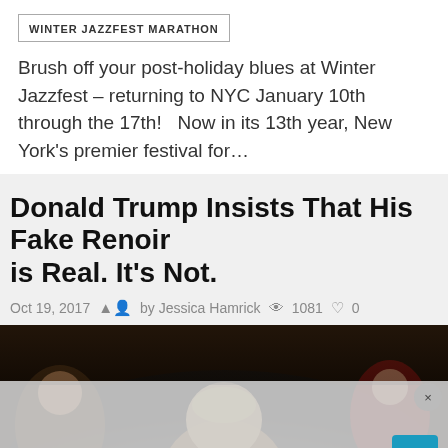WINTER JAZZFEST MARATHON
Brush off your post-holiday blues at Winter Jazzfest – returning to NYC January 10th through the 17th!   Now in its 13th year, New York's premier festival for…
Donald Trump Insists That His Fake Renoir is Real. It's Not.
Oct 19, 2017  by Jessica Hamrick  1081  0
[Figure (photo): Dark crowd photo with a person in the foreground, overlaid by a partially transparent modal/ad box with a close button (×) and a teal scroll-to-top button (∧)]